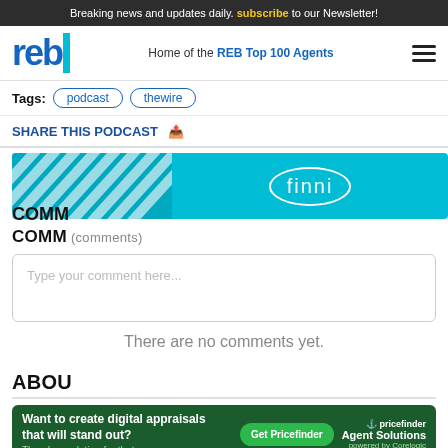Breaking news and updates daily. subscribe to our Newsletter!
reb — Home of the REB Top 100 Agents
Tags: podcast  thewire
SHARE THIS PODCAST
[Figure (other): Finni advertisement banner with cyan background and diagonal white stripes on left side]
COMM[ENTS]
Type your comment here...
There are no comments yet.
ABOU[T]
[Figure (other): Pricefinder advertisement: Want to create digital appraisals that will stand out? Get Pricefinder. Agent Solutions. There's a solution for that.]